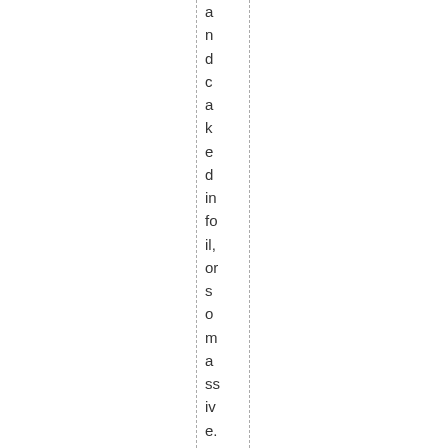and caked in foil, or so massive. When push co